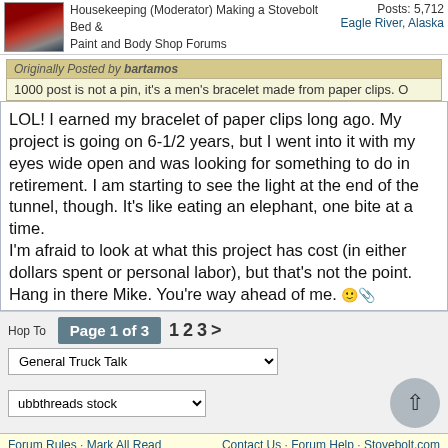Housekeeping (Moderator) Making a Stovebolt Bed & Paint and Body Shop Forums | Posts: 5,712 | Eagle River, Alaska
Originally Posted by bartamos
1000 post is not a pin, it's a men's bracelet made from paper clips.
LOL! I earned my bracelet of paper clips long ago. My project is going on 6-1/2 years, but I went into it with my eyes wide open and was looking for something to do in retirement. I am starting to see the light at the end of the tunnel, though. It's like eating an elephant, one bite at a time.
I'm afraid to look at what this project has cost (in either dollars spent or personal labor), but that's not the point.
Hang in there Mike. You're way ahead of me. 😊
Hop To | Page 1 of 3  1  2  3  >
General Truck Talk
ubbthreads stock
Forum Rules · Mark All Read    Contact Us · Forum Help · Stovebolt.com
Home | FAQ | Gallery | Tech Tips | Events | Features | Search | Ho...